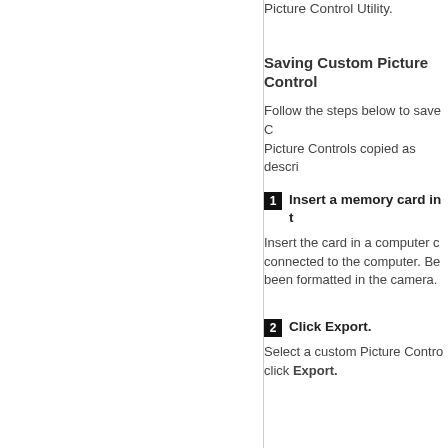Picture Control Utility.
Saving Custom Picture Controls
Follow the steps below to save Custom Picture Controls copied as described above.
1 Insert a memory card in the camera.
Insert the card in a computer card slot or in a card reader connected to the computer. Be sure the card has been formatted in the camera.
2 Click Export.
Select a custom Picture Control from the list and click Export.